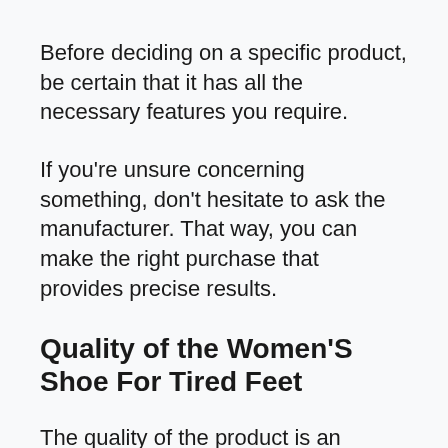Before deciding on a specific product, be certain that it has all the necessary features you require.
If you're unsure concerning something, don't hesitate to ask the manufacturer. That way, you can make the right purchase that provides precise results.
Quality of the Women'S Shoe For Tired Feet
The quality of the product is an important factor. If you happen to